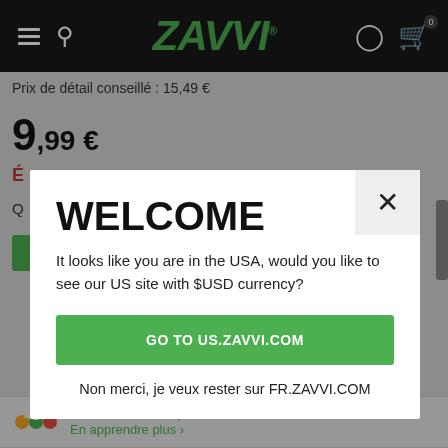[Figure (screenshot): Zavvi e-commerce website screenshot showing product page with price label 'Prix de détail conseillé : 15,49 €', large price '9,99 €', a welcome modal dialog, and Sezzle payment info]
ZAVVI
Prix de détail conseillé : 15,49 €
9,99 €
WELCOME
It looks like you are in the USA, would you like to see our US site with $USD currency?
GO TO US.ZAVVI.COM
Non merci, je veux rester sur FR.ZAVVI.COM
4 versements de 2,49 € avec Sezzle
En apprendre plus >